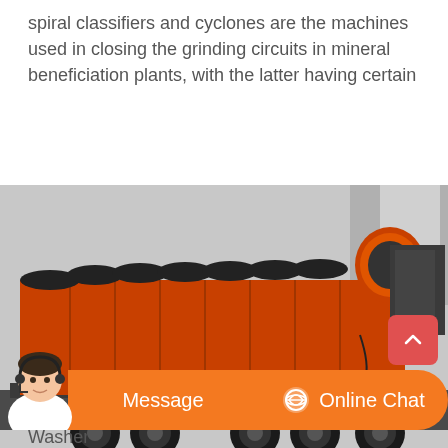spiral classifiers and cyclones are the machines used in closing the grinding circuits in mineral beneficiation plants, with the latter having certain
[Figure (photo): A large orange spiral classifier machine loaded on a flatbed truck, photographed outdoors. The machine is long with multiple spiral sections visible, with black rubber-like material on top. The truck has multiple axles with large tires.]
Washer